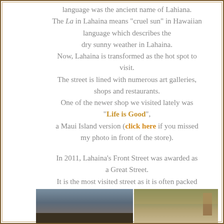language was the ancient name of Lahiana. The La in Lahaina means “cruel sun” in Hawaiian language which describes the dry sunny weather in Lahaina. Now, Lahaina is transformed as the hot spot to visit. The street is lined with numerous art galleries, shops and restaurants. One of the newer shop we visited lately was “Life is Good”, a Maui Island version (click here if you missed my photo in front of the store).
In 2011, Lahaina’s Front Street was awarded as a Great Street. It is the most visited street as it is often packed with tourists of Maui.
[Figure (photo): Two photos side by side at the bottom: left shows a street sign or storefront in Lahaina, right shows a building with trees.]